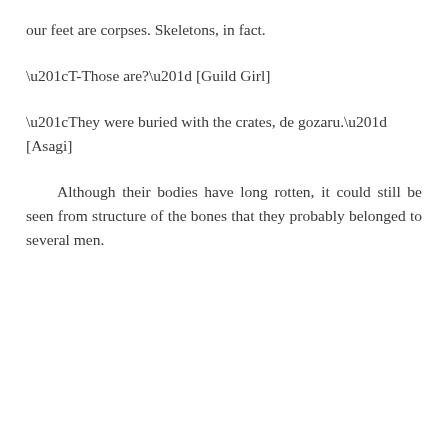our feet are corpses. Skeletons, in fact.
“T-Those are?” [Guild Girl]
“They were buried with the crates, de gozaru.” [Asagi]
Although their bodies have long rotten, it could still be seen from structure of the bones that they probably belonged to several men.